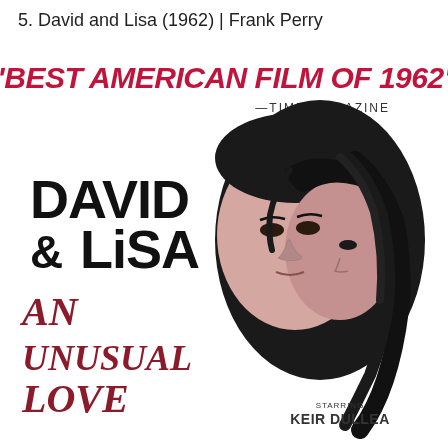5. David and Lisa (1962) | Frank Perry
[Figure (illustration): Movie poster for David and Lisa (1962). White background. Large red italic text at top: "BEST AMERICAN FILM OF 1962" with attribution —TIME MAGAZINE beneath in smaller black text. Left side has large bold black text 'DAVID & LiSA'. Below that in large dark red/maroon italic text: 'AN UNUSUAL LOVE'. Right side shows a black-and-white illustrated portrait of two faces close together, a young man and woman. Bottom right has text 'STARRING KEIR DULLEA'.]